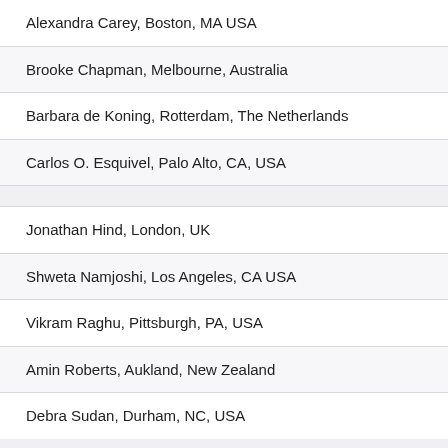Alexandra Carey, Boston, MA USA
Brooke Chapman, Melbourne, Australia
Barbara de Koning, Rotterdam, The Netherlands
Carlos O. Esquivel, Palo Alto, CA, USA
Jonathan Hind, London, UK
Shweta Namjoshi, Los Angeles, CA USA
Vikram Raghu, Pittsburgh, PA, USA
Amin Roberts, Aukland, New Zealand
Debra Sudan, Durham, NC, USA